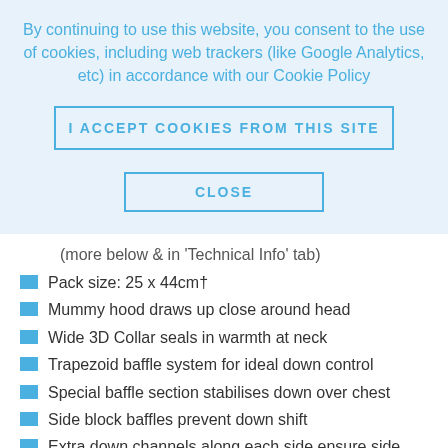By continuing to use this website, you consent to the use of cookies, including web trackers (like Google Analytics, etc) in accordance with our Cookie Policy
I ACCEPT COOKIES FROM THIS SITE
CLOSE
(more below & in 'Technical Info' tab)
Pack size: 25 x 44cm†
Mummy hood draws up close around head
Wide 3D Collar seals in warmth at neck
Trapezoid baffle system for ideal down control
Special baffle section stabilises down over chest
Side block baffles prevent down shift
Extra down channels along each side ensure side insulation